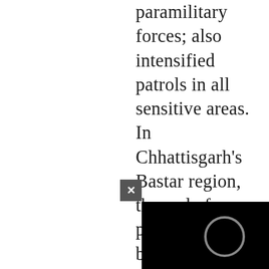paramilitary forces; also intensified patrols in all sensitive areas. In Chhattisgarh's Bastar region, the end of polling time had been advanced to 3 pm, instead of 5 pm, to allow polling parties to return to their bases safely before dark. In an attempt to facilitate polling at some vulnerable sites, 47 polling stations in Bihar and 88 polling stations in Chhattisgarh had been shifted to locations considered safe and accessible, without